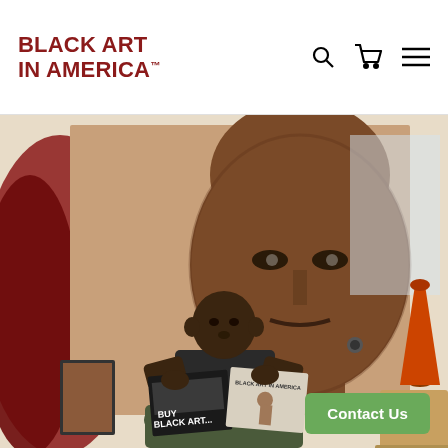BLACK ART IN AMERICA™
[Figure (photo): A Black man sits holding open a Black Art in America magazine/publication with text reading 'BUY BLACK ART...' on the cover. Behind him hangs a large dramatic portrait painting of a Black man's face. An orange sculptural object is visible in the background to the right.]
Contact Us